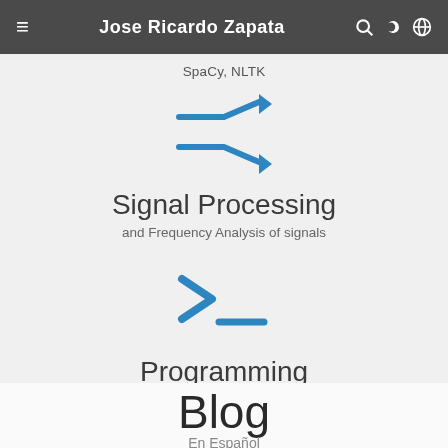Jose Ricardo Zapata
SpaCy, NLTK
[Figure (illustration): Shuffle/random arrows icon in blue]
Signal Processing
and Frequency Analysis of signals
[Figure (illustration): Terminal/command prompt icon in blue, showing >_ symbols]
Programming
SQL, Git
Blog
En Español